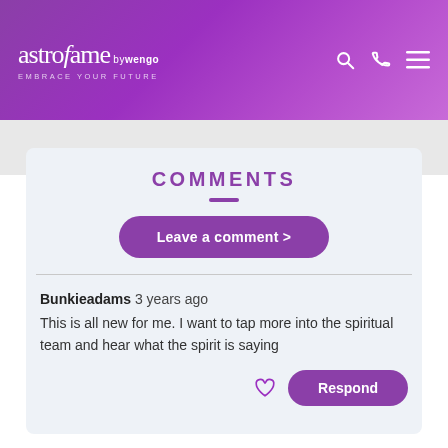astrofame by wengo
COMMENTS
Leave a comment >
Bunkieadams 3 years ago
This is all new for me. I want to tap more into the spiritual team and hear what the spirit is saying
Respond